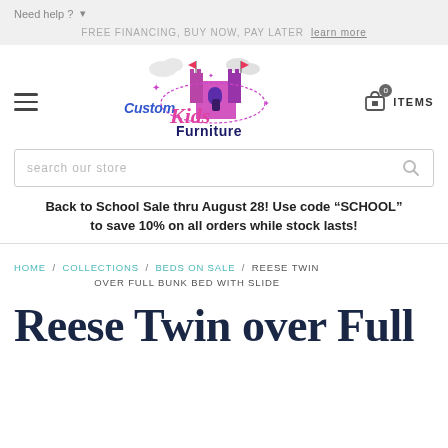Need help?
FREE FINANCING, BUY NOW, PAY LATER  learn more
[Figure (logo): Custom Kids Furniture logo with castle illustration and colorful text]
0 ITEMS
search our store
Back to School Sale thru August 28! Use code “SCHOOL” to save 10% on all orders while stock lasts!
HOME / COLLECTIONS / BEDS ON SALE / REESE TWIN OVER FULL BUNK BED WITH SLIDE
Reese Twin over Full